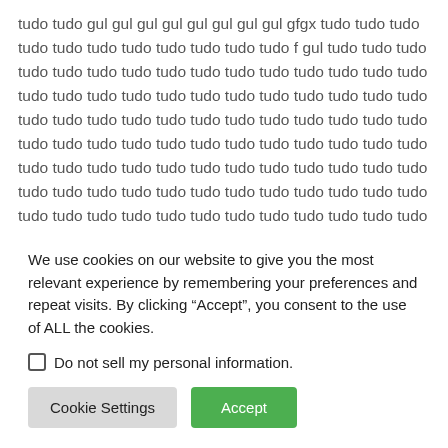tudo tudo gul gul gul gul gul gul gul gul gfgx tudo tudo tudo tudo tudo tudo tudo tudo tudo tudo tudo f gul tudo tudo tudo tudo tudo tudo tudo tudo tudo tudo tudo tudo tudo tudo tudo tudo tudo tudo tudo tudo tudo tudo tudo tudo tudo tudo tudo tudo tudo tudo tudo tudo tudo tudo tudo tudo tudo tudo tudo tudo tudo tudo tudo tudo tudo tudo tudo tudo tudo tudo tudo tudo tudo tudo tudo tudo tudo tudo tudo tudo tudo tudo tudo tudo tudo tudo tudo tudo tudo tudo tudo tudo tudo tudo tudo tudo tudo tudo tudo tudo tudo tudo tudo tudo tudo tudo tudo tudo tudo tudo tudo tudo tudo tudo tudo tudo tudo tudo tudo tudo tudo tudo tudo tudo
We use cookies on our website to give you the most relevant experience by remembering your preferences and repeat visits. By clicking “Accept”, you consent to the use of ALL the cookies.
Do not sell my personal information.
Cookie Settings
Accept